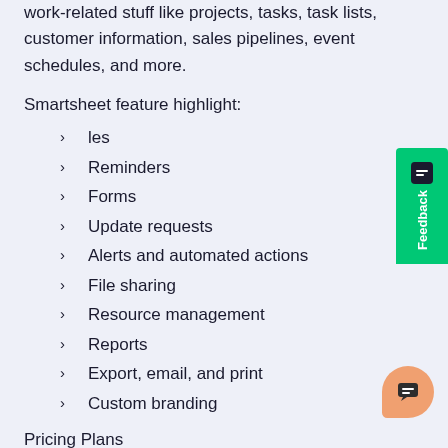work-related stuff like projects, tasks, task lists, customer information, sales pipelines, event schedules, and more.
Smartsheet feature highlight:
les
Reminders
Forms
Update requests
Alerts and automated actions
File sharing
Resource management
Reports
Export, email, and print
Custom branding
Pricing Plans
Individual ($14 per month)